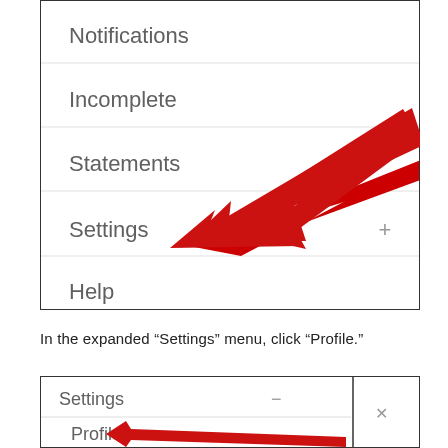[Figure (screenshot): A mobile app menu screenshot showing menu items: Notifications, Incomplete, Statements, Settings (with + icon), Help. A large red arrow points to the Settings item.]
In the expanded “Settings” menu, click “Profile.”
[Figure (screenshot): A mobile app menu screenshot showing Settings expanded with a minus icon, and Profile listed below it. A large red arrow points to Profile. A vertical divider and X close button appear on the right.]